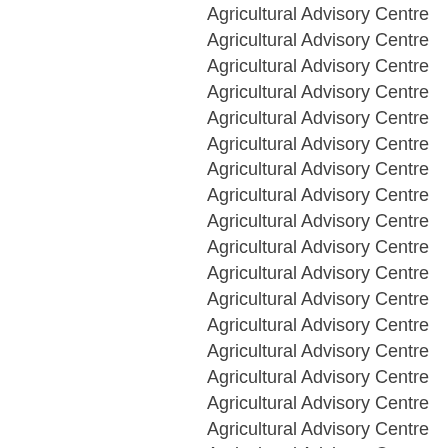Agricultural Advisory Centre
Agricultural Advisory Centre
Agricultural Advisory Centre
Agricultural Advisory Centre
Agricultural Advisory Centre
Agricultural Advisory Centre
Agricultural Advisory Centre
Agricultural Advisory Centre
Agricultural Advisory Centre
Agricultural Advisory Centre
Agricultural Advisory Centre
Agricultural Advisory Centre
Agricultural Advisory Centre
Agricultural Advisory Centre
Agricultural Advisory Centre
Agricultural Advisory Centre
Agricultural Advisory Centre
Agricultural Advisory Centre
Agricultural Advisory Centre
Agricultural Advisory Centre
Agricultural Advisory Centre